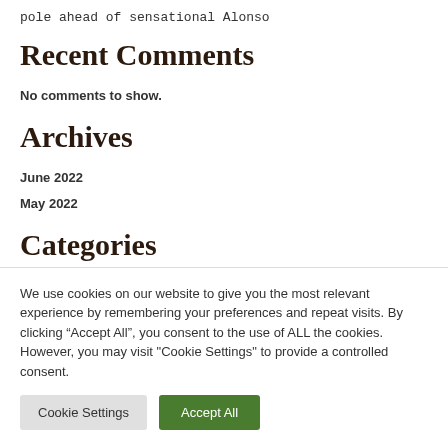pole ahead of sensational Alonso
Recent Comments
No comments to show.
Archives
June 2022
May 2022
Categories
business
We use cookies on our website to give you the most relevant experience by remembering your preferences and repeat visits. By clicking “Accept All”, you consent to the use of ALL the cookies. However, you may visit "Cookie Settings" to provide a controlled consent.